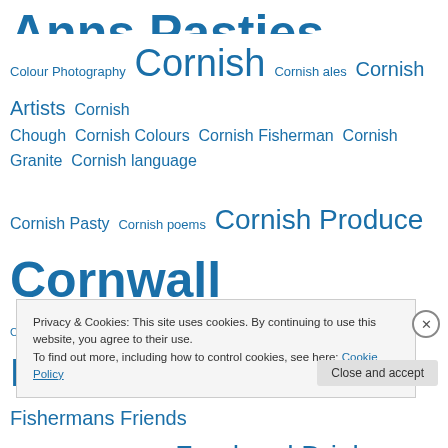Anns Pasties BBSE Beaches Bodgmin ales Carnbome Clotted Cream Coast Colour Photography Cornish Cornish ales Cornish Artists Cornish Chough Cornish Colours Cornish Fisherman Cornish Granite Cornish language Cornish Pasty Cornish poems Cornish Produce Cornwall Cornwall around the world Cot Valley Cow Parsley cuppa tea dreckly Falmouth Falmouth Bay Falmouth Oyster Festival Fishermans Friends fishing Fishing in Cornwall Food and Drink Fowey Gyllyngvase Helston Hughs 3 Hungry Boys Hughs Three Hungry Boys Lizard Looe Marazion Mevagissey Moving to Cornwall National Trust Cornwall Newlyn North Coast Oysters Padstow Pasty recipe Pendennis Point Penzance
Privacy & Cookies: This site uses cookies. By continuing to use this website, you agree to their use. To find out more, including how to control cookies, see here: Cookie Policy
Close and accept